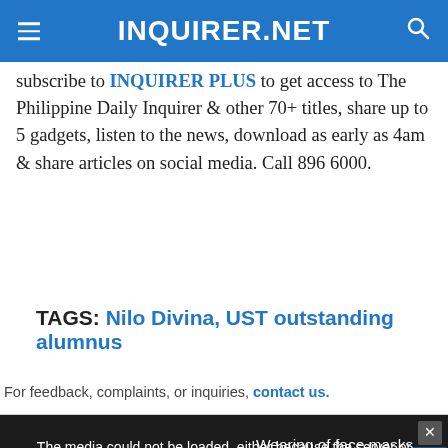INQUIRER.NET
subscribe to INQUIRER PLUS to get access to The Philippine Daily Inquirer & other 70+ titles, share up to 5 gadgets, listen to the news, download as early as 4am & share articles on social media. Call 896 6000.
TAGS: Nilo Divina, UST outstanding alumnus
For feedback, complaints, or inquiries, contact us.
[Figure (screenshot): Video player overlay showing a masked crowd with text overlay 'Wearing of face masks now nonobligatory in Cebu City'. An error message reads: 'The media could not be loaded, either because the server or network failed or because the format is not supported.' A close button (x) and chat button appear in the corner.]